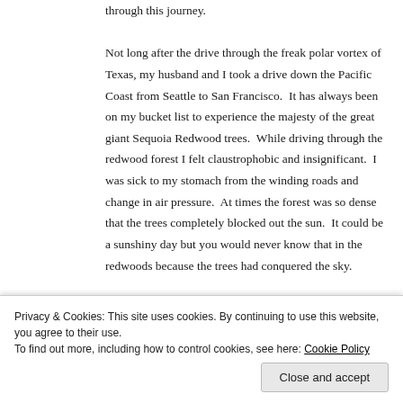through this journey.

Not long after the drive through the freak polar vortex of Texas, my husband and I took a drive down the Pacific Coast from Seattle to San Francisco.  It has always been on my bucket list to experience the majesty of the great giant Sequoia Redwood trees.  While driving through the redwood forest I felt claustrophobic and insignificant.  I was sick to my stomach from the winding roads and change in air pressure.  At times the forest was so dense that the trees completely blocked out the sun.  It could be a sunshiny day but you would never know that in the redwoods because the trees had conquered the sky.
Privacy & Cookies: This site uses cookies. By continuing to use this website, you agree to their use.
To find out more, including how to control cookies, see here: Cookie Policy
Close and accept